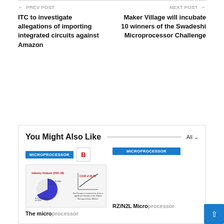← PREV POST
ITC to investigate allegations of importing integrated circuits against Amazon
NEXT POST →
Maker Village will incubate 10 winners of the Swadeshi Microprocessor Challenge
You Might Also Like
[Figure (screenshot): Article thumbnail with MICROPROCESSOR badge and pie chart image for microprocessor industry analysis]
[Figure (screenshot): Article thumbnail with MICROPROCESSOR badge]